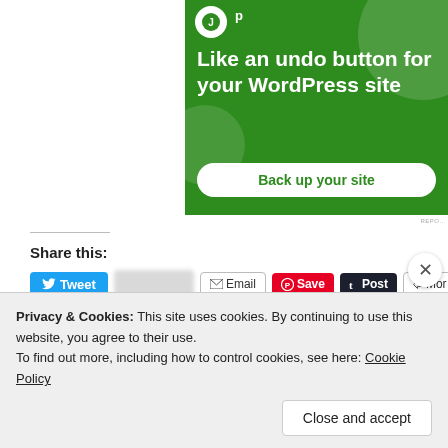[Figure (screenshot): Green advertisement banner for a WordPress backup service. White text reads 'Like an undo button for your WordPress site' with a white button 'Back up your site'.]
Share this:
[Figure (screenshot): Social share buttons row: Tweet, blurred button, Email, Save, Post, More]
Privacy & Cookies: This site uses cookies. By continuing to use this website, you agree to their use.
To find out more, including how to control cookies, see here: Cookie Policy
Close and accept